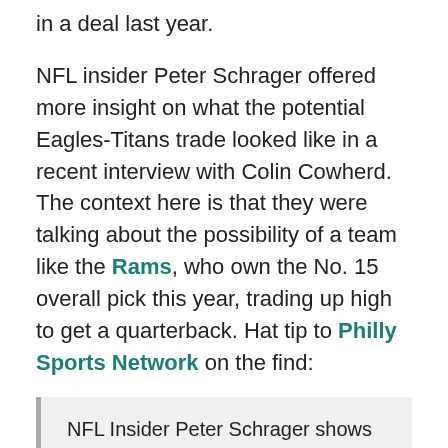in a deal last year.
NFL insider Peter Schrager offered more insight on what the potential Eagles-Titans trade looked like in a recent interview with Colin Cowherd. The context here is that they were talking about the possibility of a team like the Rams, who own the No. 15 overall pick this year, trading up high to get a quarterback. Hat tip to Philly Sports Network on the find:
NFL Insider Peter Schrager shows just how desperate Chip Kelly was to draft Mariota....wow pic.twitter.com/rFy6iMkxVB — Liam Jenkins (@LiamJenkins21) March 17, 2016
"Last year the Eagles offered the Tennessee Titans,